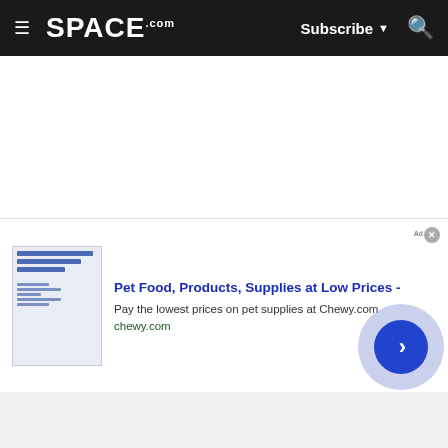SPACE.com — Subscribe — Search
[Figure (screenshot): White blank content area of a Space.com webpage]
[Figure (screenshot): Advertisement banner for Chewy.com: Pet Food, Products, Supplies at Low Prices - Pay the lowest prices on pet supplies at Chewy.com — chewy.com]